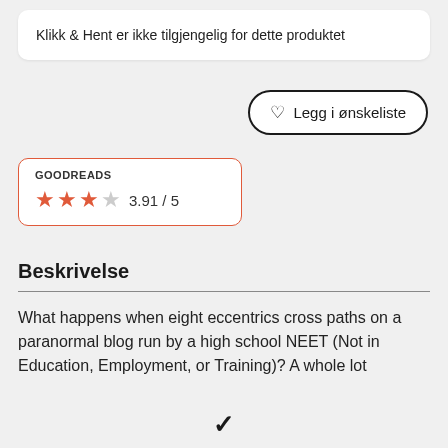Klikk & Hent er ikke tilgjengelig for dette produktet
Legg i ønskeliste
GOODREADS
3.91 / 5
Beskrivelse
What happens when eight eccentrics cross paths on a paranormal blog run by a high school NEET (Not in Education, Employment, or Training)? A whole lot